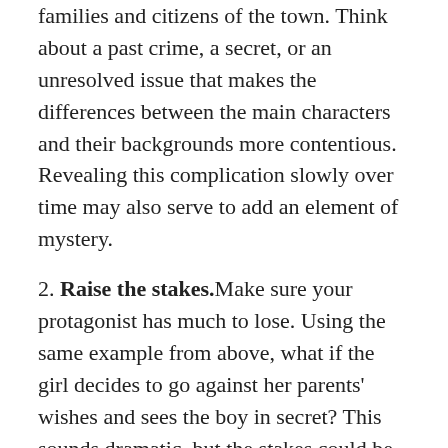families and citizens of the town. Think about a past crime, a secret, or an unresolved issue that makes the differences between the main characters and their backgrounds more contentious. Revealing this complication slowly over time may also serve to add an element of mystery.
2. Raise the stakes. Make sure your protagonist has much to lose. Using the same example from above, what if the girl decides to go against her parents' wishes and sees the boy in secret? This sounds dramatic, but the stakes could be made even higher if the girl not only risks losing the respect and trust of her parents but also has a problem with one of her best friends. Perhaps a close friend refuses to cover for the girl because she doesn't want to